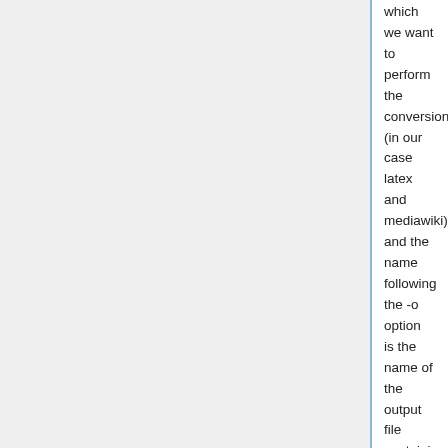which we want to perform the conversion (in our case latex and mediawiki) and the name following the -o option is the name of the output file containing the mediawiki content. Note the .mdw extension is completely arbitrary.
Once your latex files where translated to mediwiki markup they can easily be insserted in the ES wiki with a simple cut and paste.
CAVEAT:I did some testing of this tool and although for very complex latex files it may not always work immediately, by copying the relevant portions of the latex files we want to export to mediawiki and processing them separately it seems to work very well. I am performing some further testing with this tool, with special emphasis on exporting bibtex files to mediawiki to illustrate the results.